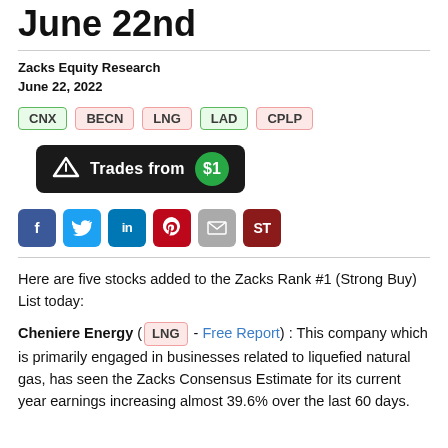June 22nd
Zacks Equity Research
June 22, 2022
CNX  BECN  LNG  LAD  CPLP
[Figure (other): Trades from $1 button - dark button with green $1 circle and upward arrow icon]
[Figure (other): Social media share icons: Facebook, Twitter, LinkedIn, Pinterest, Email, StockTwits]
Here are five stocks added to the Zacks Rank #1 (Strong Buy) List today:
Cheniere Energy ( LNG - Free Report ) : This company which is primarily engaged in businesses related to liquefied natural gas, has seen the Zacks Consensus Estimate for its current year earnings increasing almost 39.6% over the last 60 days.